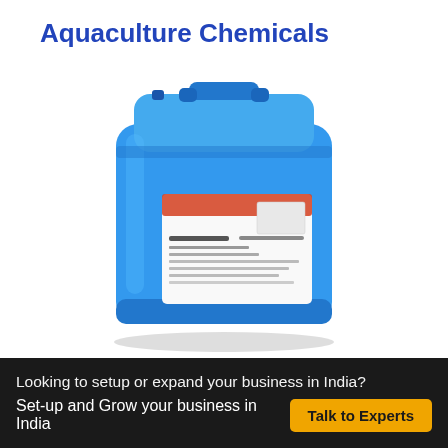Aquaculture Chemicals
[Figure (photo): A large blue plastic chemical drum/jerry can with a white label on the front containing product information. The container has a handle at the top and is photographed against a white background.]
Looking to setup or expand your business in India?
Set-up and Grow your business in India
Talk to Experts